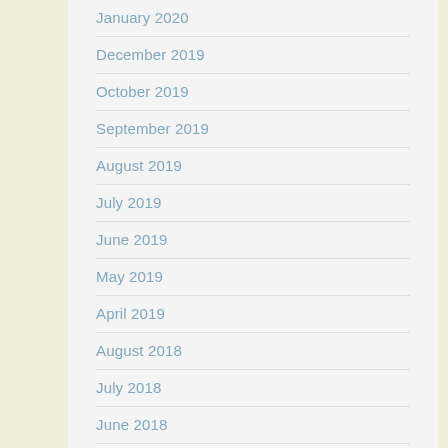January 2020
December 2019
October 2019
September 2019
August 2019
July 2019
June 2019
May 2019
April 2019
August 2018
July 2018
June 2018
April 2018